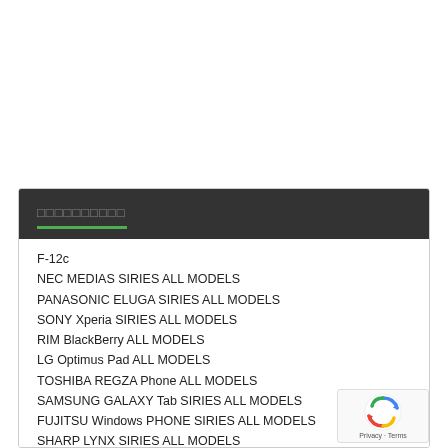□□□□□□□□□□
F-12c
NEC MEDIAS SIRIES ALL MODELS
PANASONIC ELUGA SIRIES ALL MODELS
SONY Xperia SIRIES ALL MODELS
RIM BlackBerry ALL MODELS
LG Optimus Pad ALL MODELS
TOSHIBA REGZA Phone ALL MODELS
SAMSUNG GALAXY Tab SIRIES ALL MODELS
FUJITSU Windows PHONE SIRIES ALL MODELS
SHARP LYNX SIRIES ALL MODELS
GALAXY S SC-02B
PANTECH ALL MODELS
SONY XPERIA SIRIES
CASIO G'zOne SIRIES
SHARP AQUOS PHONE SIRIES
TOSHIBA REGZA Phone SIRIES